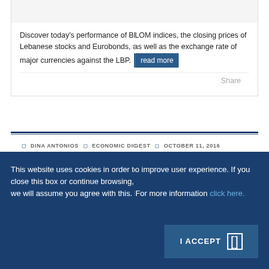Discover today's performance of BLOM indices, the closing prices of Lebanese stocks and Eurobonds, as well as the exchange rate of major currencies against the LBP. read more
Share
DINA ANTONIOS | ECONOMIC DIGEST | OCTOBER 11, 2016
Trade Activity at Masnaa and
This website uses cookies in order to improve user experience. If you close this box or continue browsing, we will assume you agree with this. For more information click here.
I ACCEPT